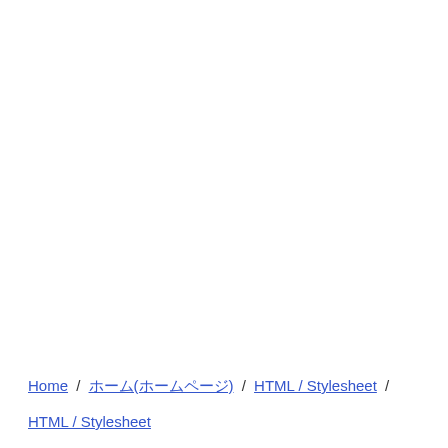Home / ホーム(ホームページ) / HTML / Stylesheet /
HTML / Stylesheet